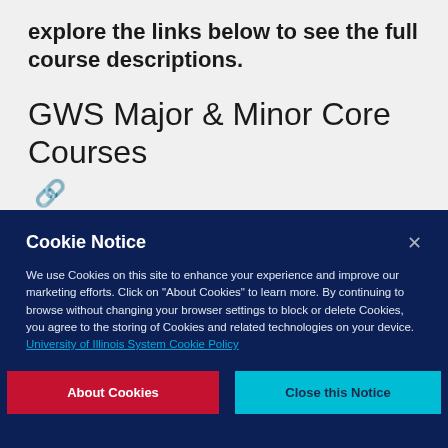explore the links below to see the full course descriptions.
GWS Major & Minor Core Courses 🔗
Cookie Notice
We use Cookies on this site to enhance your experience and improve our marketing efforts. Click on "About Cookies" to learn more. By continuing to browse without changing your browser settings to block or delete Cookies, you agree to the storing of Cookies and related technologies on your device.  University of Illinois System Cookie Policy
About Cookies
Close this Notice